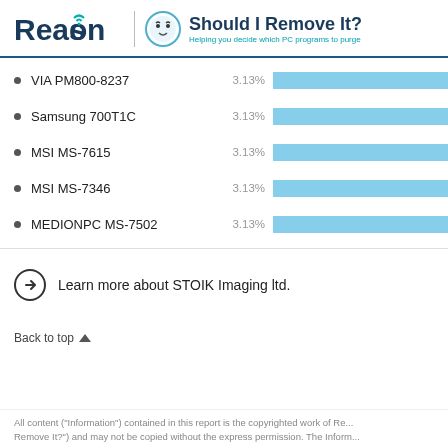Reason | Should I Remove It? Helping you decide which PC programs to purge
[Figure (bar-chart): PC models distribution]
Learn more about STOIK Imaging ltd.
Back to top ▲
All content ("Information") contained in this report is the copyrighted work of Reason ("Should I Remove It?") and may not be copied without the express permission. The Inform...